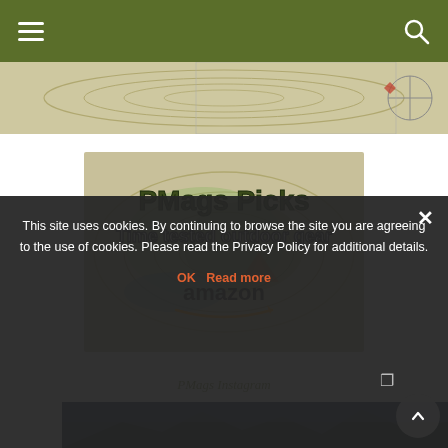Navigation header with hamburger menu and search icon
[Figure (photo): Partial topographic map image cropped at top of page]
[Figure (infographic): PMags Picks - Time tested outdoor gear - amazon banner over topographic map background]
PMags Instagram
[Figure (photo): Partial Instagram photo showing dark mountain/landscape scene]
This site uses cookies. By continuing to browse the site you are agreeing to the use of cookies. Please read the Privacy Policy for additional details.
OK  Read more